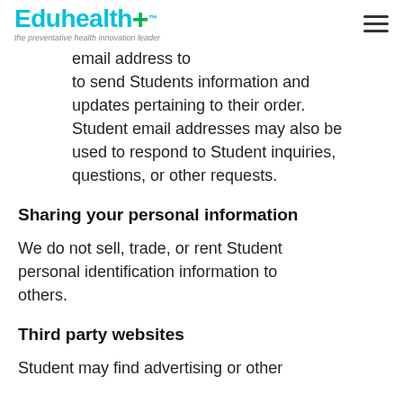Eduhealth+™ the preventative health innovation leader
email address to send Students information and updates pertaining to their order. Student email addresses may also be used to respond to Student inquiries, questions, or other requests.
Sharing your personal information
We do not sell, trade, or rent Student personal identification information to others.
Third party websites
Student may find advertising or other